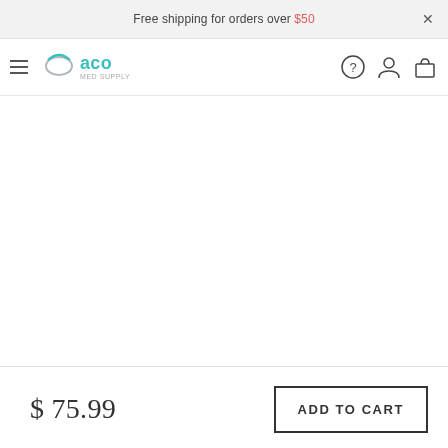Free shipping for orders over $50
[Figure (logo): ACO brand logo with arc/semicircle icon and teal 'aco' text]
[Figure (photo): Product image area (blank/white product photo space)]
$ 75.99
ADD TO CART